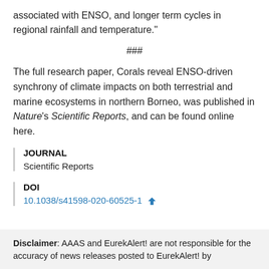associated with ENSO, and longer term cycles in regional rainfall and temperature."
###
The full research paper, Corals reveal ENSO-driven synchrony of climate impacts on both terrestrial and marine ecosystems in northern Borneo, was published in Nature's Scientific Reports, and can be found online here.
JOURNAL
Scientific Reports
DOI
10.1038/s41598-020-60525-1
Disclaimer: AAAS and EurekAlert! are not responsible for the accuracy of news releases posted to EurekAlert! by